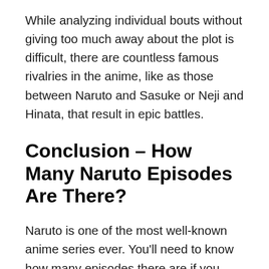While analyzing individual bouts without giving too much away about the plot is difficult, there are countless famous rivalries in the anime, like as those between Naruto and Sasuke or Neji and Hinata, that result in epic battles.
Conclusion – How Many Naruto Episodes Are There?
Naruto is one of the most well-known anime series ever. You'll need to know how many episodes there are if you want to view the whole series. Naruto is a Japanese anime and manga series about a ninja of the same name. Naruto's journey to become the Hokage, the village's leader and